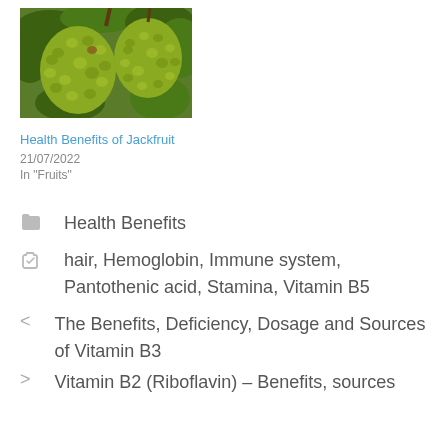[Figure (photo): Photo of jackfruit hanging on tree with green spiky skin and leaves]
Health Benefits of Jackfruit
21/07/2022
In "Fruits"
Health Benefits
hair, Hemoglobin, Immune system, Pantothenic acid, Stamina, Vitamin B5
< The Benefits, Deficiency, Dosage and Sources of Vitamin B3
> Vitamin B2 (Riboflavin) – Benefits, sources